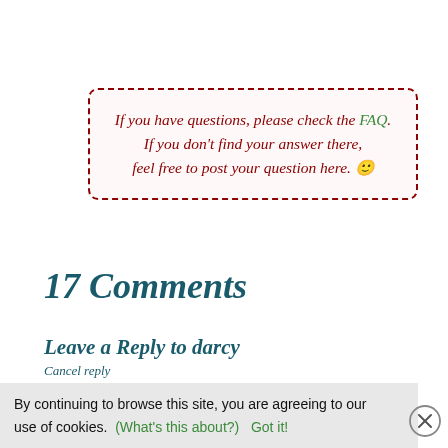If you have questions, please check the FAQ. If you don't find your answer there, feel free to post your question here. 🙂
17 Comments
Leave a Reply to darcy
Cancel reply
Your email address will not be published.
Required fields are marked *
By continuing to browse this site, you are agreeing to our use of cookies. (What's this about?) Got it!